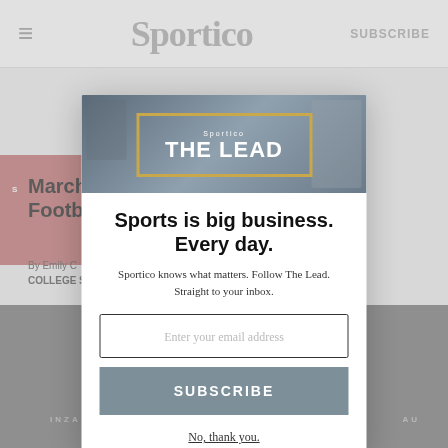Sportico  SUBSCRIBE
[Figure (screenshot): Sportico website screenshot showing a newsletter signup modal overlay. Background shows article titled 'March... Footba...ys' by Emily C, category COLLEGE S, with a sports photo at the bottom. The modal is a white popup with 'Sportico THE LEAD' banner image at top, headline 'Sports is big business. Every day.', subtitle 'Sportico knows what matters. Follow The Lead. Straight to your inbox.', email input field, SUBSCRIBE button, and 'No, thank you.' dismiss link.]
Sports is big business. Every day.
Sportico knows what matters. Follow The Lead. Straight to your inbox.
No, thank you.